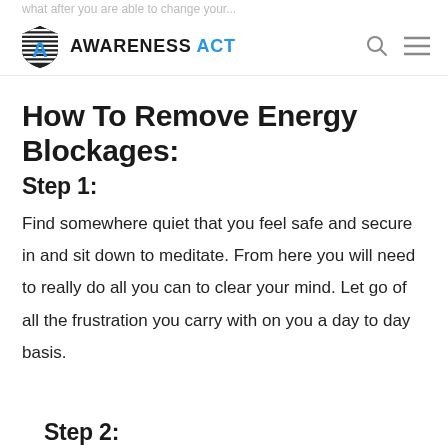AWARENESS ACT
How To Remove Energy Blockages:
Step 1:
Find somewhere quiet that you feel safe and secure in and sit down to meditate. From here you will need to really do all you can to clear your mind. Let go of all the frustration you carry with on you a day to day basis.
Step 2: